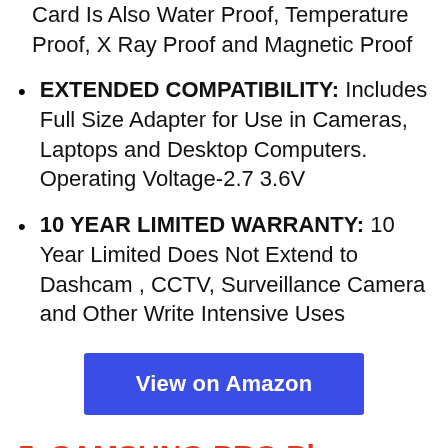Card Is Also Water Proof, Temperature Proof, X Ray Proof and Magnetic Proof
EXTENDED COMPATIBILITY: Includes Full Size Adapter for Use in Cameras, Laptops and Desktop Computers. Operating Voltage-2.7 3.6V
10 YEAR LIMITED WARRANTY: 10 Year Limited Does Not Extend to Dashcam , CCTV, Surveillance Camera and Other Write Intensive Uses
View on Amazon
5. SAMSUNG PRO Plus + Adapter 128GB microSDXC Up to 160MB/s UHS-I, U3, A2, V30,